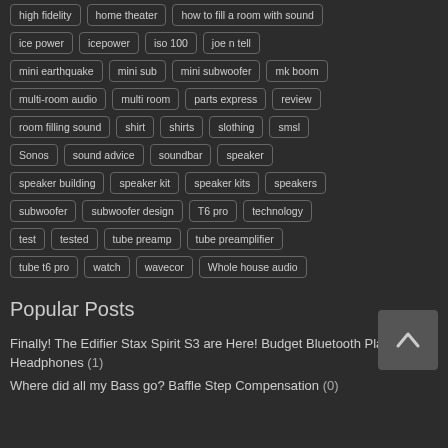high fidelity
home theater
how to fill a room with sound
ice power
icepower
iso 100
joe n tell
mini earthquake
mini sub
mini subwoofer
mk boom
multi-room audio
multi room
parts express
review
room filling sound
shirt
shirts
slothing
smsl
Sonos
sound advice
soundbar
speaker
speaker building
speaker kit
speaker kits
speakers
subwoofer
subwoofer design
T6 pro
technology
test
tested
tube preamp
tube preamplifier
tube t6 pro
watch
wavecor
Whole house audio
Popular Posts
Finally! The Edifier Stax Spirit S3 are Here! Budget Bluetooth Planar Headphones (1)
Where did all my Bass go? Baffle Step Compensation (0)